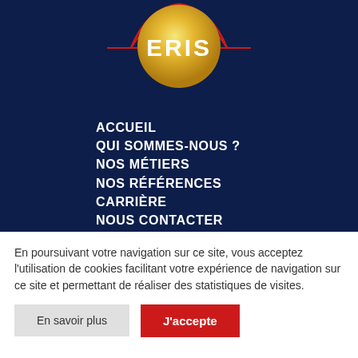[Figure (logo): ERIS logo — gold/yellow circular emblem with text ERIS in white bold letters, dark navy blue background, red arc lines on left and right sides of logo]
ACCUEIL
QUI SOMMES-NOUS ?
NOS MÉTIERS
NOS RÉFÉRENCES
CARRIÈRE
NOUS CONTACTER
En poursuivant votre navigation sur ce site, vous acceptez l'utilisation de cookies facilitant votre expérience de navigation sur ce site et permettant de réaliser des statistiques de visites.